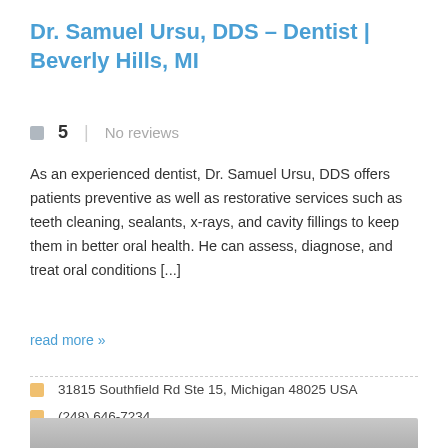Dr. Samuel Ursu, DDS – Dentist | Beverly Hills, MI
5  No reviews
As an experienced dentist, Dr. Samuel Ursu, DDS offers patients preventive as well as restorative services such as teeth cleaning, sealants, x-rays, and cavity fillings to keep them in better oral health. He can assess, diagnose, and treat oral conditions [...]
read more »
31815 Southfield Rd Ste 15, Michigan 48025 USA
(248) 646-7234
9am to 5pm Monday to Friday
[Figure (photo): Gray image bar at bottom of page]